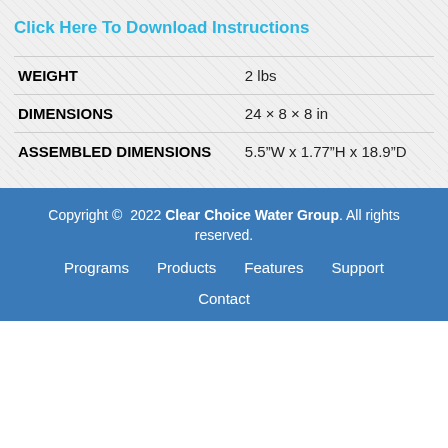Click Here To Download Instructions
| WEIGHT | 2 lbs |
| DIMENSIONS | 24 × 8 × 8 in |
| ASSEMBLED DIMENSIONS | 5.5"W x 1.77"H x 18.9"D |
Copyright © 2022 Clear Choice Water Group. All rights reserved. Programs   Products   Features   Support   Contact